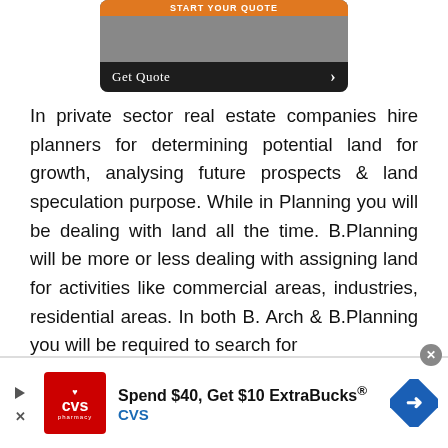[Figure (screenshot): Advertisement banner showing 'START YOUR QUOTE' in orange text with a photo of a person and a 'Get Quote >' button at the bottom]
In private sector real estate companies hire planners for determining potential land for growth, analysing future prospects & land speculation purpose. While in Planning you will be dealing with land all the time. B.Planning will be more or less dealing with assigning land for activities like commercial areas, industries, residential areas. In both B. Arch & B.Planning you will be required to search for
[Figure (screenshot): CVS Pharmacy advertisement banner: 'Spend $40, Get $10 ExtraBucks® CVS' with CVS logo on left and blue navigation diamond on right]